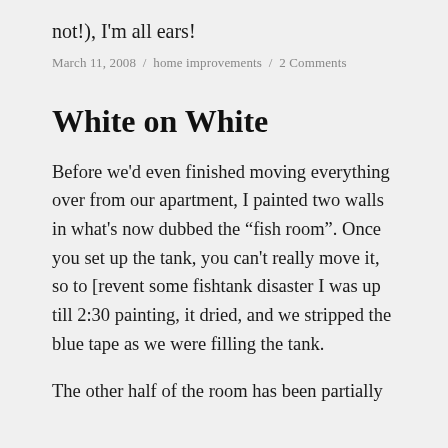not!), I'm all ears!
March 11, 2008 / home improvements / 2 Comments
White on White
Before we'd even finished moving everything over from our apartment, I painted two walls in what's now dubbed the "fish room". Once you set up the tank, you can't really move it, so to [revent some fishtank disaster I was up till 2:30 painting, it dried, and we stripped the blue tape as we were filling the tank.
The other half of the room has been partially